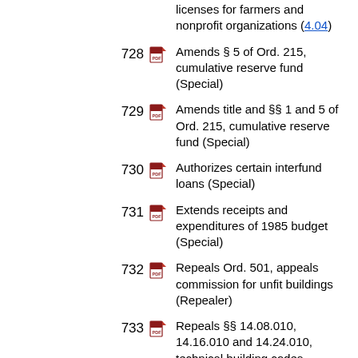licenses for farmers and nonprofit organizations (4.04)
728 Amends § 5 of Ord. 215, cumulative reserve fund (Special)
729 Amends title and §§ 1 and 5 of Ord. 215, cumulative reserve fund (Special)
730 Authorizes certain interfund loans (Special)
731 Extends receipts and expenditures of 1985 budget (Special)
732 Repeals Ord. 501, appeals commission for unfit buildings (Repealer)
733 Repeals §§ 14.08.010, 14.16.010 and 14.24.010, technical building codes (Repealer)
734 Amends § 1(d) of Ord. 526, special excise tax; repeals Ord. 667 (Repealed by 1010)